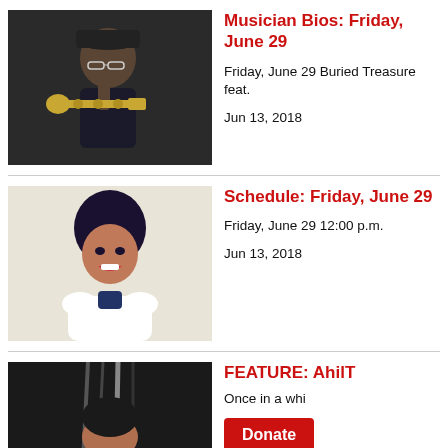[Figure (photo): Man in black cap and glasses holding a trumpet, dark background]
Musician Bios: Friday, June 29
Friday, June 29 Buried Treasure feat.
Jun 13, 2018
[Figure (photo): Woman with blue hair and white outfit smiling, light background]
Schedule: Friday, June 29
Friday, June 29 12:00 p.m.
Jun 13, 2018
[Figure (photo): Woman with dark hair, dark background, partially cropped]
FEATURE: Ahil...
Once in a whi...
Donate